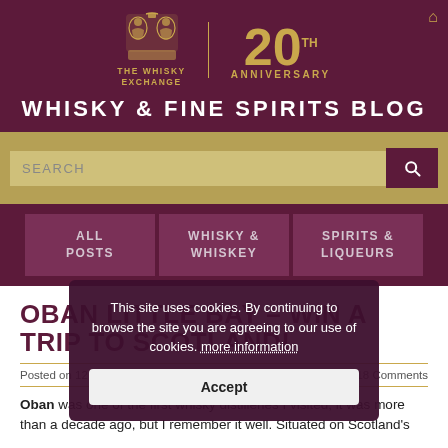[Figure (logo): The Whisky Exchange 20th Anniversary logo with lion crest emblem on dark purple background]
WHISKY & FINE SPIRITS BLOG
SEARCH
ALL POSTS | WHISKY & WHISKEY | SPIRITS & LIQUEURS
OBAN LITTLE BAY – WIN A TRIP TO SCOTLAND!
Posted on 12 April 2014 by Stuart   18 Comments
Oban was one of the first whisky distilleries I visited; it was more than a decade ago, but I remember it well. Situated on Scotland's
This site uses cookies. By continuing to browse the site you are agreeing to our use of cookies. more information
Accept